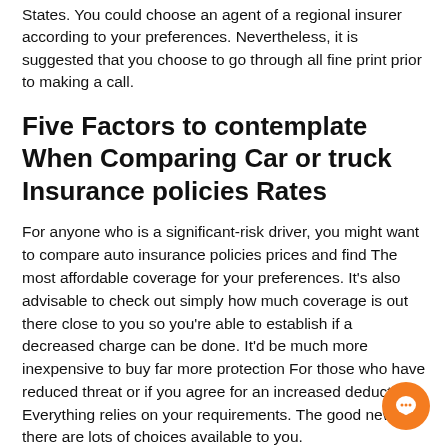States. You could choose an agent of a regional insurer according to your preferences. Nevertheless, it is suggested that you choose to go through all fine print prior to making a call.
Five Factors to contemplate When Comparing Car or truck Insurance policies Rates
For anyone who is a significant-risk driver, you might want to compare auto insurance policies prices and find The most affordable coverage for your preferences. It's also advisable to check out simply how much coverage is out there close to you so you're able to establish if a decreased charge can be done. It'd be much more inexpensive to buy far more protection For those who have reduced threat or if you agree for an increased deductible. Everything relies on your requirements. The good news is, there are lots of choices available to you.